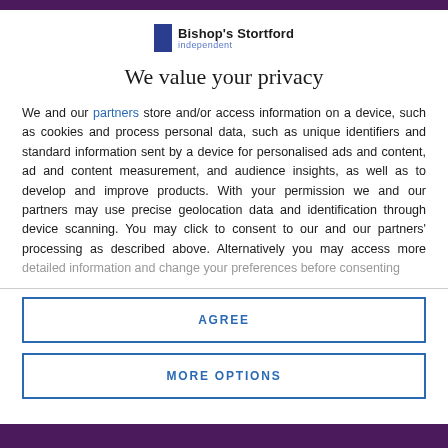[Figure (logo): Bishop's Stortford Independent logo with blue rectangle and text]
We value your privacy
We and our partners store and/or access information on a device, such as cookies and process personal data, such as unique identifiers and standard information sent by a device for personalised ads and content, ad and content measurement, and audience insights, as well as to develop and improve products. With your permission we and our partners may use precise geolocation data and identification through device scanning. You may click to consent to our and our partners' processing as described above. Alternatively you may access more detailed information and change your preferences before consenting
AGREE
MORE OPTIONS